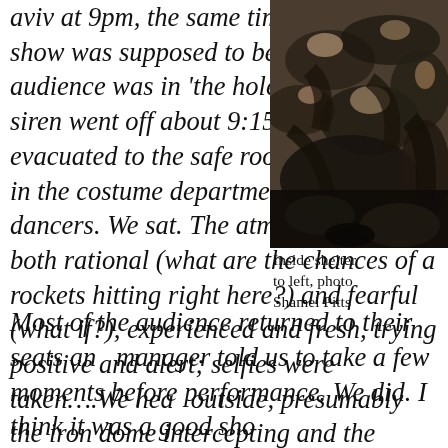aviv at 9pm, the same time the second show was supposed to begin. The audience was in 'the hole' when the siren went off about 9:15. They evacuated to the safe room downstairs in the costume department, as did the dancers. We sat. The atmosphere was both rational (what are the chances of a rockets hitting right here?) and fearful (what if?), experienced and fresh, trying positive and alert; selfies were taken….We hear outside, presumably the iron dome intercepting and the sirens stopped.
[Figure (photo): People huddled together inside a shelter, photo taken from above/side angle showing bodies close together]
Inside shelter to left, photo Shamel Pitts
Most of the audience returned to their seats and manager told us to take a few moments before performance. We did. I think it was a good sho